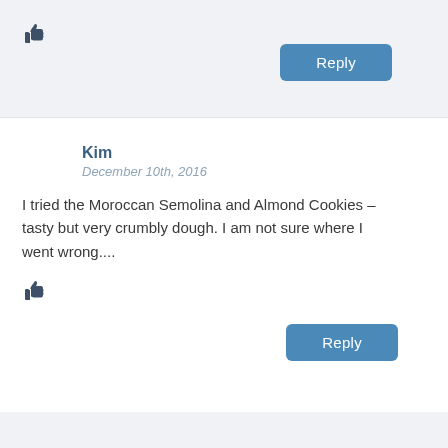[Figure (other): Thumbs up icon in dark slate color, top-left of first comment section]
Reply
Kim
December 10th, 2016
I tried the Moroccan Semolina and Almond Cookies – tasty but very crumbly dough. I am not sure where I went wrong....
[Figure (other): Thumbs up icon in dark slate color, below comment text]
Reply